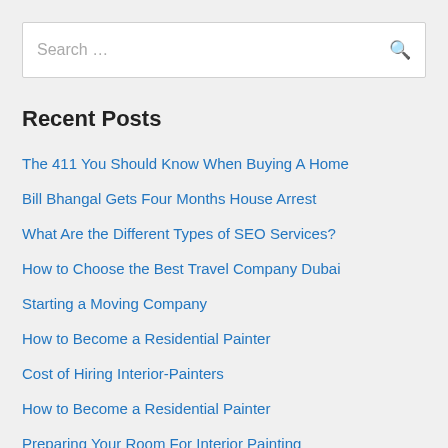Search ...
Recent Posts
The 411 You Should Know When Buying A Home
Bill Bhangal Gets Four Months House Arrest
What Are the Different Types of SEO Services?
How to Choose the Best Travel Company Dubai
Starting a Moving Company
How to Become a Residential Painter
Cost of Hiring Interior-Painters
How to Become a Residential Painter
Preparing Your Room For Interior Painting
Black and Grey Tattoo Styles